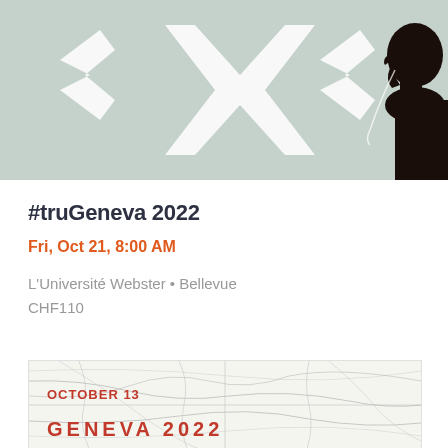[Figure (photo): Header photo showing a person in profile silhouette against a frosted glass window with white X/chevron shapes pattern]
#truGeneva 2022
Fri, Oct 21, 8:00 AM
L'Université Webster • Bellevue
CHF110
[Figure (map): Map of Geneva region showing road networks in light gray lines with text overlaid reading 'OCTOBER 13' in red and 'GENEVA 2022' in red large letters]